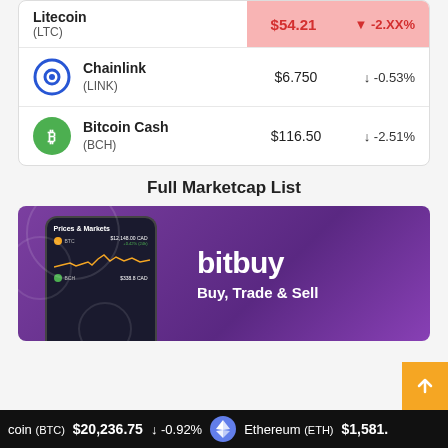| Cryptocurrency | Price | Change |
| --- | --- | --- |
| Litecoin (LTC) | $54.21 | ▼ -2.XX% |
| Chainlink (LINK) | $6.750 | ↓ -0.53% |
| Bitcoin Cash (BCH) | $116.50 | ↓ -2.51% |
Full Marketcap List
[Figure (screenshot): Bitbuy advertisement banner showing a phone with Prices & Markets screen and bitbuy logo with Buy, Trade & Sell tagline]
coin (BTC)   $20,236.75   ↓ -0.92%   Ethereum (ETH)   $1,581.